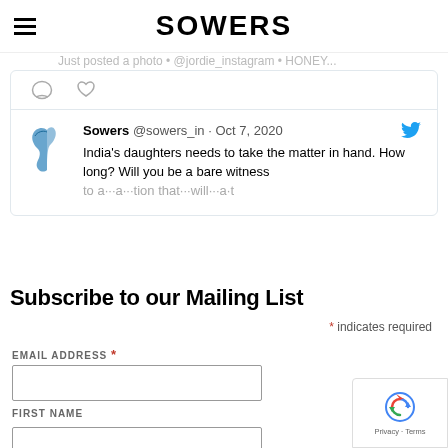SOWERS
[Figure (screenshot): Tweet from Sowers @sowers_in dated Oct 7, 2020 with bird avatar and Twitter bird icon. Text: India's daughters needs to take the matter in hand. How long? Will you be a bare witness to...]
Subscribe to our Mailing List
* indicates required
EMAIL ADDRESS *
FIRST NAME